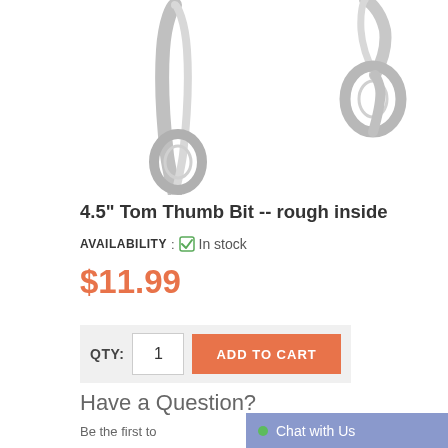[Figure (photo): Two stainless steel horse bits (Tom Thumb Bit) shown against white background - each has an elongated arm with a ring at the bottom]
4.5" Tom Thumb Bit -- rough inside
AVAILABILITY : ✔ In stock
$11.99
QTY: 1  ADD TO CART
Have a Question?
Be the first to
Chat with Us